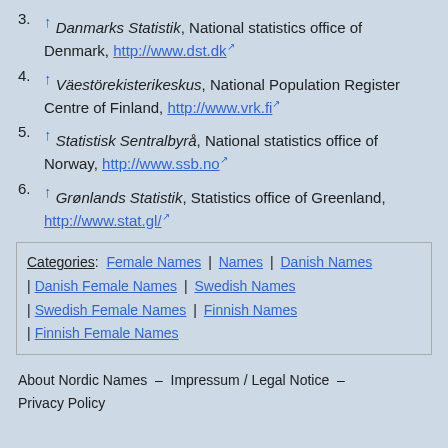3. ↑ Danmarks Statistik, National statistics office of Denmark, http://www.dst.dk
4. ↑ Väestörekisterikeskus, National Population Register Centre of Finland, http://www.vrk.fi
5. ↑ Statistisk Sentralbyrå, National statistics office of Norway, http://www.ssb.no
6. ↑ Grønlands Statistik, Statistics office of Greenland, http://www.stat.gl/
Categories: Female Names | Names | Danish Names | Danish Female Names | Swedish Names | Swedish Female Names | Finnish Names | Finnish Female Names
About Nordic Names — Impressum / Legal Notice — Privacy Policy